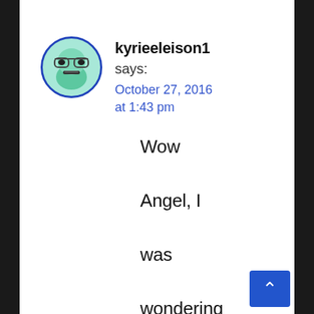[Figure (illustration): Avatar icon of a green cartoon monster face with glasses inside a blue circle border]
kyrieeleison1
says:
October 27, 2016 at 1:43 pm
Wow Angel, I was wondering who “Patrick” was. I see it is “stlonginu...
[Figure (other): Blue back-to-top button with upward chevron arrow]